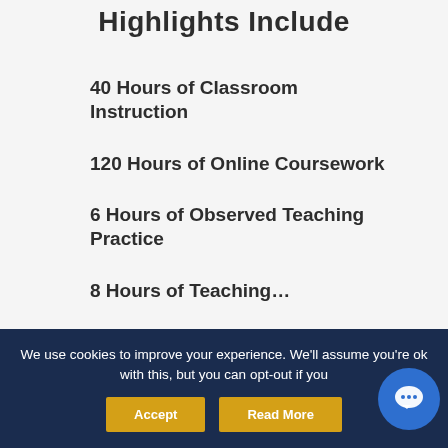Highlights Include
40 Hours of Classroom Instruction
120 Hours of Online Coursework
6 Hours of Observed Teaching Practice
8 Hours of Teaching…
We use cookies to improve your experience. We'll assume you're ok with this, but you can opt-out if you